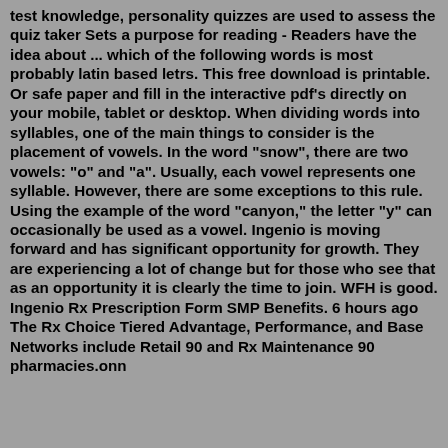test knowledge, personality quizzes are used to assess the quiz taker Sets a purpose for reading - Readers have the idea about ... which of the following words is most probably latin based letrs. This free download is printable. Or safe paper and fill in the interactive pdf's directly on your mobile, tablet or desktop. When dividing words into syllables, one of the main things to consider is the placement of vowels. In the word "snow", there are two vowels: "o" and "a". Usually, each vowel represents one syllable. However, there are some exceptions to this rule. Using the example of the word "canyon," the letter "y" can occasionally be used as a vowel. Ingenio is moving forward and has significant opportunity for growth. They are experiencing a lot of change but for those who see that as an opportunity it is clearly the time to join. WFH is good. Ingenio Rx Prescription Form SMP Benefits. 6 hours ago The Rx Choice Tiered Advantage, Performance, and Base Networks include Retail 90 and Rx Maintenance 90 pharmacies.onn